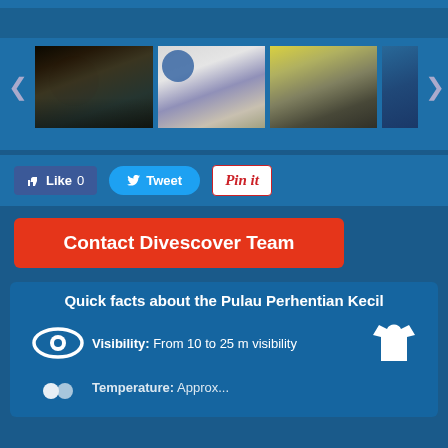[Figure (photo): Photo gallery strip showing 4 thumbnail images: (1) people under an outdoor shelter/dock area, selected with green border; (2) group of divers in wetsuits standing together with a diving logo; (3) group of people sitting/resting outdoors; (4) partial view of underwater or tropical scene. Navigation arrows on left and right.]
Like 0   Tweet   Pin it
Contact Divescover Team
Quick facts about the Pulau Perhentian Kecil
Visibility: From 10 to 25 m visibility